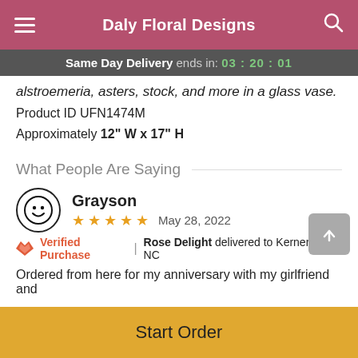Daly Floral Designs
Same Day Delivery ends in: 03:20:01
alstroemeria, asters, stock, and more in a glass vase.
Product ID UFN1474M
Approximately 12" W x 17" H
What People Are Saying
Grayson
★★★★★  May 28, 2022
🌹 Verified Purchase | Rose Delight delivered to Kernersville, NC
Ordered from here for my anniversary with my girlfriend and